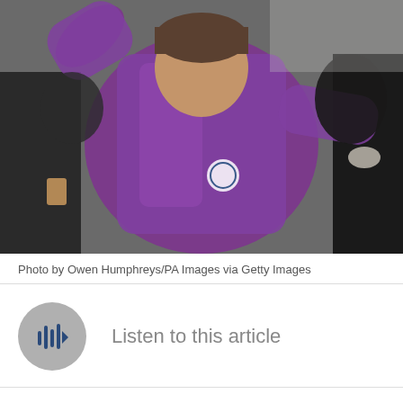[Figure (photo): A person wearing a purple/magenta zip-up hoodie with arms raised, surrounded by other people in a crowd setting. Photo taken outdoors.]
Photo by Owen Humphreys/PA Images via Getty Images
[Figure (other): Audio player button - circular grey button with audio waveform/play icon]
Listen to this article
Newcastle United didn't enter the offseason as one of the trendy favorites to be relegated (again) this season. But they are now.